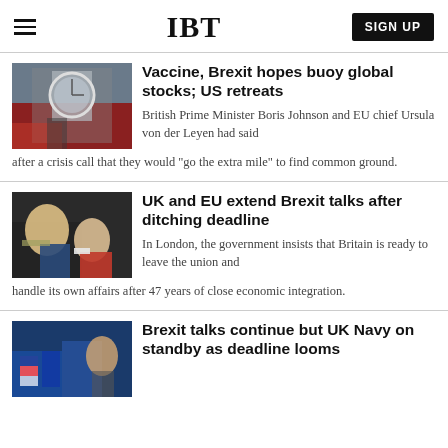IBT
Vaccine, Brexit hopes buoy global stocks; US retreats
British Prime Minister Boris Johnson and EU chief Ursula von der Leyen had said after a crisis call that they would "go the extra mile" to find common ground.
UK and EU extend Brexit talks after ditching deadline
In London, the government insists that Britain is ready to leave the union and handle its own affairs after 47 years of close economic integration.
Brexit talks continue but UK Navy on standby as deadline looms